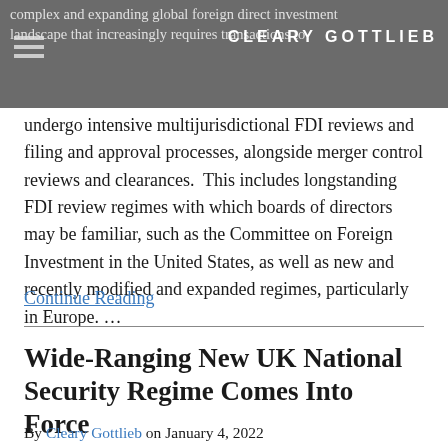complex and expanding global foreign direct investment landscape that increasingly requires transactions to
undergo intensive multijurisdictional FDI reviews and filing and approval processes, alongside merger control reviews and clearances.  This includes longstanding FDI review regimes with which boards of directors may be familiar, such as the Committee on Foreign Investment in the United States, as well as new and recently modified and expanded regimes, particularly in Europe. …
Continue Reading
Wide-Ranging New UK National Security Regime Comes Into Force
By Cleary Gottlieb on January 4, 2022